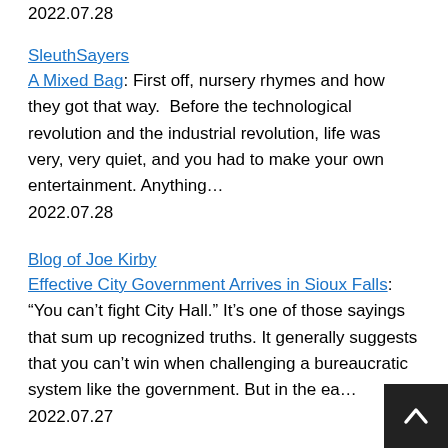2022.07.28
SleuthSayers
A Mixed Bag: First off, nursery rhymes and how they got that way.  Before the technological revolution and the industrial revolution, life was very, very quiet, and you had to make your own entertainment. Anything… 2022.07.28
Blog of Joe Kirby
Effective City Government Arrives in Sioux Falls: “You can't fight City Hall.” It's one of those sayings that sum up recognized truths. It generally suggests that you can't win when challenging a bureaucratic system like the government. But in the ea… 2022.07.27
SleuthSayers
A Dangerous Place:  After the tenth book in her Ma